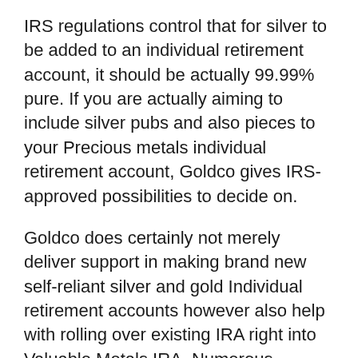IRS regulations control that for silver to be added to an individual retirement account, it should be actually 99.99% pure. If you are actually aiming to include silver pubs and also pieces to your Precious metals individual retirement account, Goldco gives IRS-approved possibilities to decide on.
Goldco does certainly not merely deliver support in making brand new self-reliant silver and gold Individual retirement accounts however also help with rolling over existing IRA right into Valuable Metals IRA. Numerous pension are entitled for a roll-over. A rep from the provider can support you and offer you with additional info about the method.